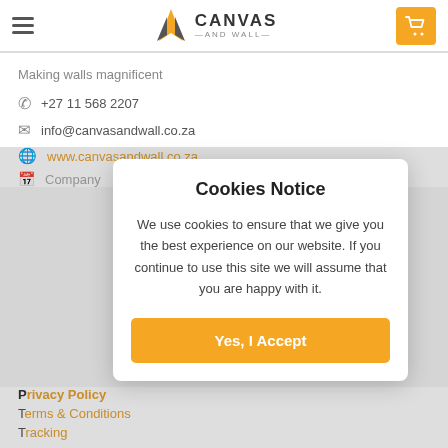[Figure (logo): Canvas and Wall logo with orange and grey arrow/mountain icon and text CANVAS AND WALL]
Making walls magnificent
+27 11 568 2207
info@canvasandwall.co.za
www.canvasandwall.co.za
Cookies Notice
We use cookies to ensure that we give you the best experience on our website. If you continue to use this site we will assume that you are happy with it.
Yes, I Accept
Privacy Policy
Terms & Conditions
Tracking
Customer Service